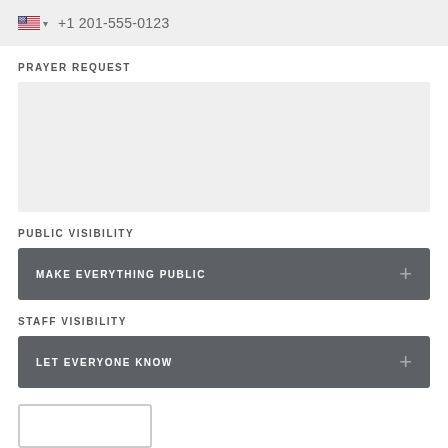+1 201-555-0123
PRAYER REQUEST
[Figure (other): Empty prayer request text input area with light grey background]
PUBLIC VISIBILITY
MAKE EVERYTHING PUBLIC
STAFF VISIBILITY
LET EVERYONE KNOW